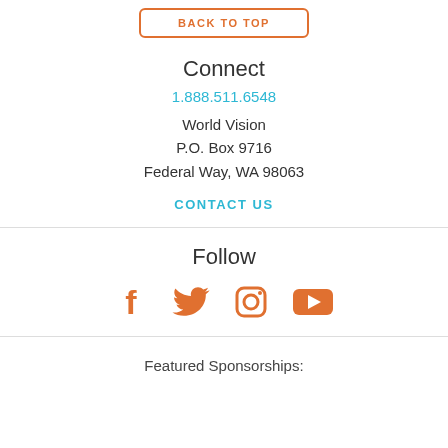BACK TO TOP
Connect
1.888.511.6548
World Vision
P.O. Box 9716
Federal Way, WA 98063
CONTACT US
Follow
[Figure (infographic): Four social media icons in orange: Facebook, Twitter, Instagram, YouTube]
Featured Sponsorships: